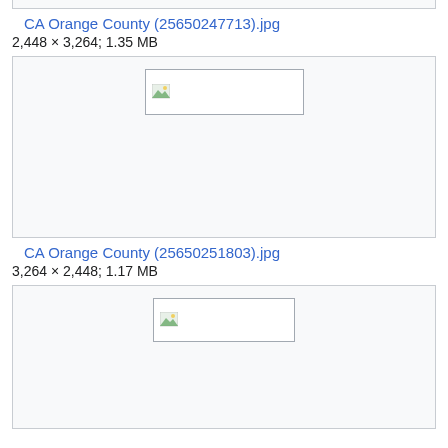CA Orange County (25650247713).jpg
2,448 × 3,264; 1.35 MB
[Figure (photo): Broken image placeholder for CA Orange County (25650247713).jpg]
CA Orange County (25650251803).jpg
3,264 × 2,448; 1.17 MB
[Figure (photo): Broken image placeholder for CA Orange County (25650251803).jpg]